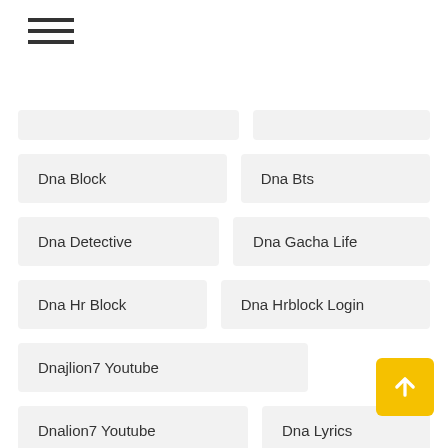[Figure (other): Hamburger menu icon with three horizontal lines]
Dna Block
Dna Bts
Dna Detective
Dna Gacha Life
Dna Hr Block
Dna Hrblock Login
Dnajlion7 Youtube
Dnalion7 Youtube
Dna Lyrics
Dna Motoring
Dna Painter
Dna Productions
Dna Replication
Dna Simple
Dna Song